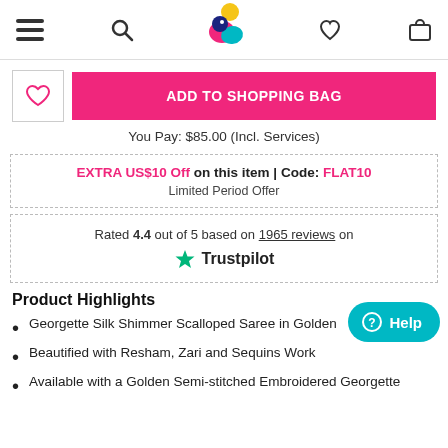Navigation header with menu, search, logo, wishlist, and bag icons
[Figure (illustration): Pink and teal bird logo with yellow sun above]
ADD TO SHOPPING BAG
You Pay: $85.00 (Incl. Services)
EXTRA US$10 Off on this item | Code: FLAT10
Limited Period Offer
Rated 4.4 out of 5 based on 1965 reviews on Trustpilot
Product Highlights
Georgette Silk Shimmer Scalloped Saree in Golden
Beautified with Resham, Zari and Sequins Work
Available with a Golden Semi-stitched Embroidered Georgette